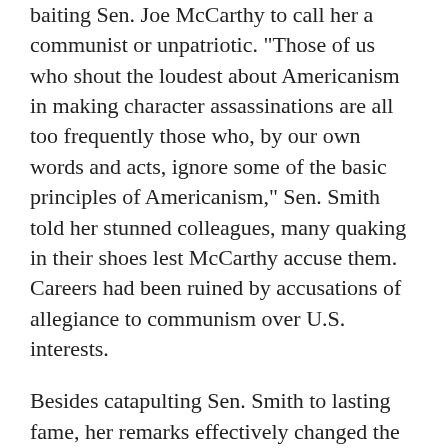baiting Sen. Joe McCarthy to call her a communist or unpatriotic. "Those of us who shout the loudest about Americanism in making character assassinations are all too frequently those who, by our own words and acts, ignore some of the basic principles of Americanism," Sen. Smith told her stunned colleagues, many quaking in their shoes lest McCarthy accuse them. Careers had been ruined by accusations of allegiance to communism over U.S. interests.
Besides catapulting Sen. Smith to lasting fame, her remarks effectively changed the course of the reign of fear now taught to history students as McCarthyism.
Today, a new McCarthyism has established itself in the public discourse, whereby anyone who questions the mainstream political establishment must be "working with the Russians" — or perhaps